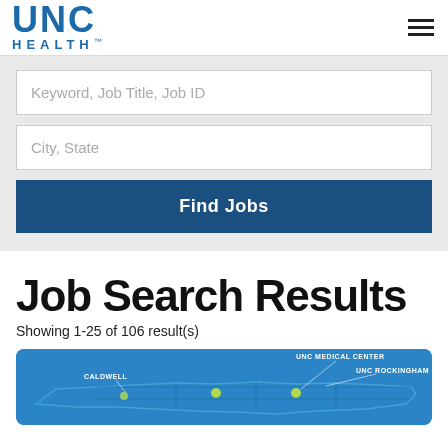UNC HEALTH
Keyword, Job Title, Job ID
City, State
Find Jobs
Job Search Results
Showing 1-25 of 106 result(s)
[Figure (map): UNC Health network map of North Carolina showing locations including UNC Rockingham, UNC Medical Center, and Caldwell]